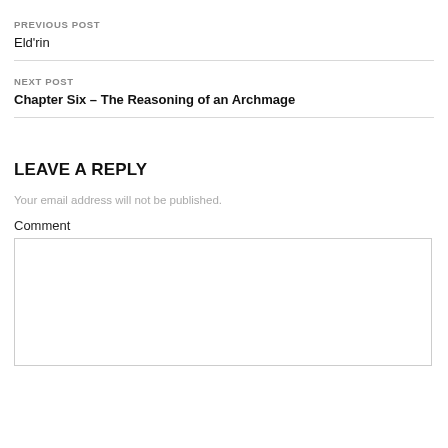PREVIOUS POST
Eld'rin
NEXT POST
Chapter Six – The Reasoning of an Archmage
LEAVE A REPLY
Your email address will not be published.
Comment